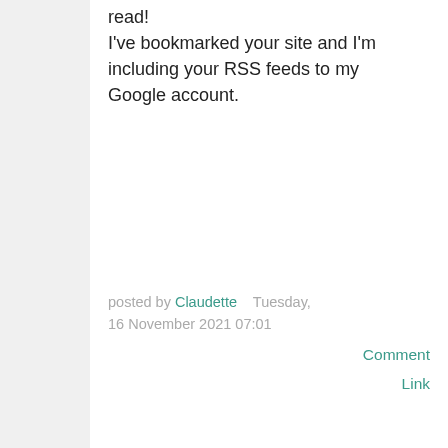read! I've bookmarked your site and I'm including your RSS feeds to my Google account.
posted by Claudette   Tuesday, 16 November 2021 07:01   Comment Link
[Figure (other): Small rounded rectangle placeholder (avatar or input field)]
Woah! I'm really loving the template/theme of this site. It's simple, yet effective. A lot of times it's tough to get that "perfect balance" between superb usability and visual appeal.